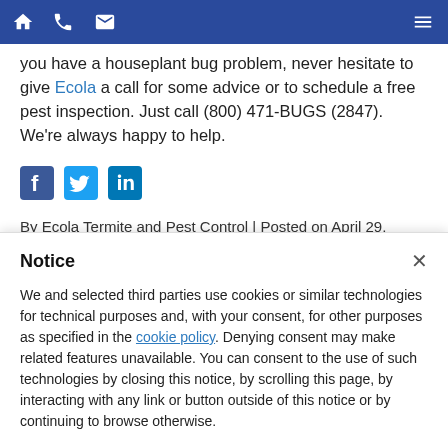[Navigation bar with home, phone, email icons and hamburger menu]
you have a houseplant bug problem, never hesitate to give Ecola a call for some advice or to schedule a free pest inspection. Just call (800) 471-BUGS (2847). We're always happy to help.
[Figure (other): Social sharing icons: Facebook, Twitter, LinkedIn]
By Ecola Termite and Pest Control | Posted on April 29,
Notice
We and selected third parties use cookies or similar technologies for technical purposes and, with your consent, for other purposes as specified in the cookie policy. Denying consent may make related features unavailable. You can consent to the use of such technologies by closing this notice, by scrolling this page, by interacting with any link or button outside of this notice or by continuing to browse otherwise.